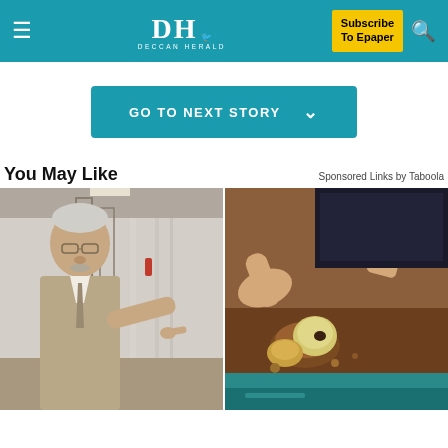DH DECCAN HERALD | Subscribe To Epaper
GO TO NEXT STORY
You May Like
Sponsored Links by Taboola
[Figure (photo): Two side-by-side images: left shows an elderly man in a suit and tie pointing at something in a hospital corridor; right shows hands working with what appears to be dental or food items in a sandy/soil environment.]